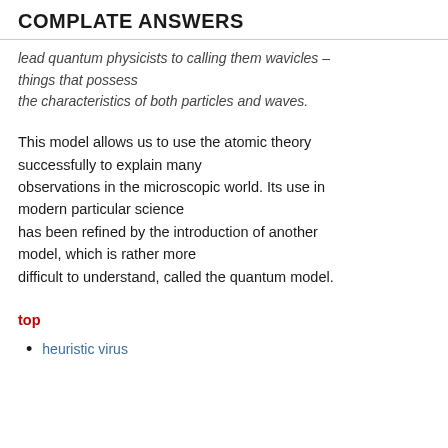COMPLATE ANSWERS
lead quantum physicists to calling them wavicles – things that possess the characteristics of both particles and waves.
This model allows us to use the atomic theory successfully to explain many observations in the microscopic world. Its use in modern particular science has been refined by the introduction of another model, which is rather more difficult to understand, called the quantum model.
top
heuristic virus